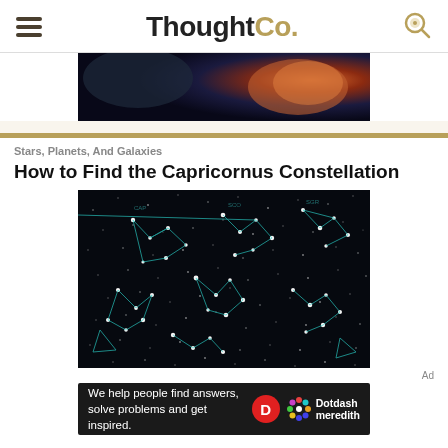ThoughtCo.
[Figure (photo): Banner image with dark space and orange nebula/planet glow]
Stars, Planets, And Galaxies
How to Find the Capricornus Constellation
[Figure (photo): Dark night sky constellation map showing multiple connected star patterns with cyan/teal lines on a dark background]
Ad
[Figure (other): Dotdash Meredith advertisement banner: 'We help people find answers, solve problems and get inspired.']